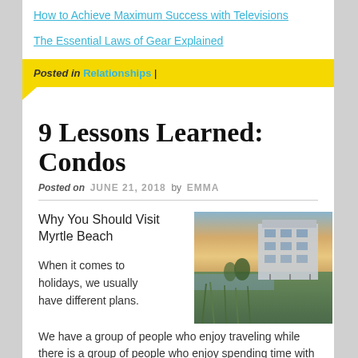How to Achieve Maximum Success with Televisions
The Essential Laws of Gear Explained
Posted in Relationships |
9 Lessons Learned: Condos
Posted on JUNE 21, 2018 by EMMA
Why You Should Visit Myrtle Beach
[Figure (photo): Coastal beach house/condo building at dusk with marsh grass in foreground and colorful sky]
When it comes to holidays, we usually have different plans. We have a group of people who enjoy traveling while there is a group of people who enjoy spending time with their loved ones. Whichever the way that people choose